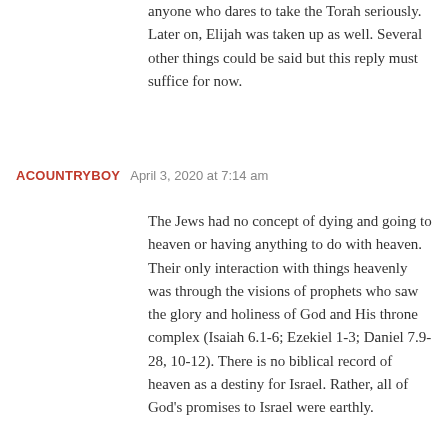anyone who dares to take the Torah seriously. Later on, Elijah was taken up as well. Several other things could be said but this reply must suffice for now.
ACOUNTRYBOY  April 3, 2020 at 7:14 am
The Jews had no concept of dying and going to heaven or having anything to do with heaven. Their only interaction with things heavenly was through the visions of prophets who saw the glory and holiness of God and His throne complex (Isaiah 6.1-6; Ezekiel 1-3; Daniel 7.9-28, 10-12). There is no biblical record of heaven as a destiny for Israel. Rather, all of God's promises to Israel were earthly.